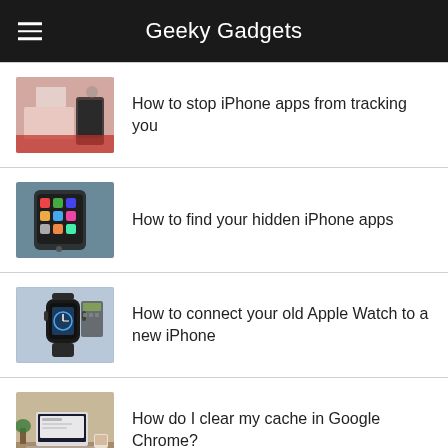Geeky Gadgets
How to stop iPhone apps from tracking you
How to find your hidden iPhone apps
How to connect your old Apple Watch to a new iPhone
How do I clear my cache in Google Chrome?